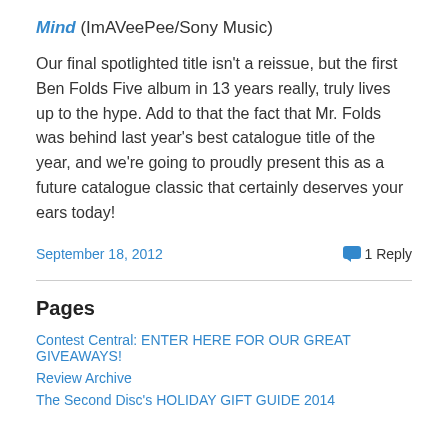Mind (ImAVeePee/Sony Music)
Our final spotlighted title isn't a reissue, but the first Ben Folds Five album in 13 years really, truly lives up to the hype. Add to that the fact that Mr. Folds was behind last year's best catalogue title of the year, and we're going to proudly present this as a future catalogue classic that certainly deserves your ears today!
September 18, 2012   1 Reply
Pages
Contest Central: ENTER HERE FOR OUR GREAT GIVEAWAYS!
Review Archive
The Second Disc's HOLIDAY GIFT GUIDE 2014